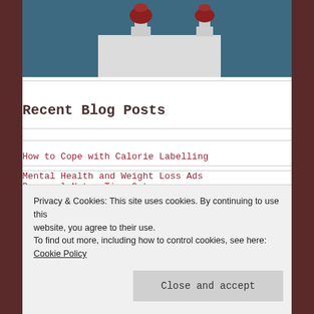[Figure (photo): Photo of two trophies with red/brown tops on a white podium/shelf against a teal/dark blue background]
Recent Blog Posts
How to Cope with Calorie Labelling
Personal Note: Time Out
What Calorie Labelling does to People with Binge Eating Disorder
Privacy & Cookies: This site uses cookies. By continuing to use this website, you agree to their use.
To find out more, including how to control cookies, see here: Cookie Policy
Mental Health and Weight Loss Ads